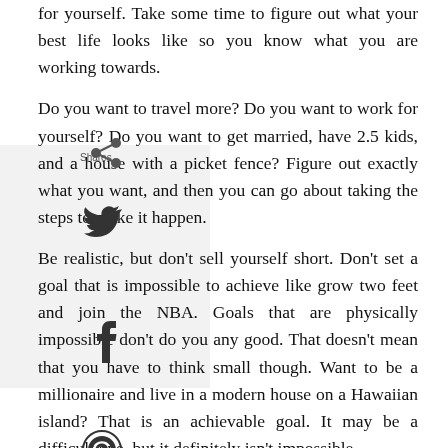for yourself. Take some time to figure out what your best life looks like so you know what you are working towards.
Do you want to travel more? Do you want to work for yourself? Do you want to get married, have 2.5 kids, and a house with a picket fence? Figure out exactly what you want, and then you can go about taking the steps to make it happen.
Be realistic, but don't sell yourself short. Don't set a goal that is impossible to achieve like grow two feet and join the NBA. Goals that are physically impossible don't do you any good. That doesn't mean that you have to think small though. Want to be a millionaire and live in a modern house on a Hawaiian island? That is an achievable goal. It may be a difficult one, but it definitely isn't impossible.